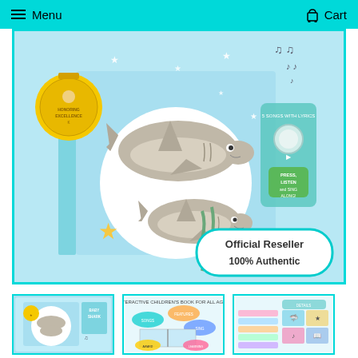Menu  Cart
[Figure (photo): Main product image of Baby Shark interactive children's board book with sound button, featuring two sharks on a blue underwater background. A gold award medal is visible on the top left, and a turquoise 'Official Reseller 100% Authentic' badge is in the bottom right. The book has a press/listen/sing-along button on the right side.]
[Figure (photo): Thumbnail 1: Front cover of Baby Shark book showing the title and shark illustration]
[Figure (photo): Thumbnail 2: Interior spread of Baby Shark interactive children's book showing colorful pages with diagrams]
[Figure (photo): Thumbnail 3: Additional product detail image showing features chart or content listing]